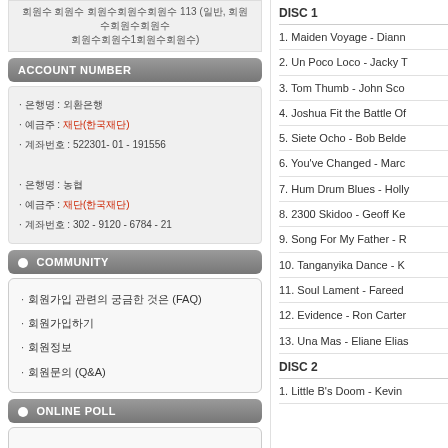회원수 회원수 회원수회원수회원수 113 (일반, 회원수회원수회원수회원수1회원수회원수)
ACCOUNT NUMBER
· 은행명 : 외환은행
· 예금주 : 재단(한국재단)
· 계좌번호 : 522301- 01 - 191556
· 은행명 : 농협
· 예금주 : 재단(한국재단)
· 계좌번호 : 302 - 9120 - 6784 - 21
COMMUNITY
회원가입 관련의 궁금한 것은 (FAQ)
회원가입하기
회원정보
회원문의 (Q&A)
ONLINE POLL
현재 진행중인
DISC 1
1. Maiden Voyage - Diann
2. Un Poco Loco - Jacky T
3. Tom Thumb - John Sco
4. Joshua Fit the Battle Of
5. Siete Ocho - Bob Belde
6. You've Changed - Marc
7. Hum Drum Blues - Holly
8. 2300 Skidoo - Geoff Ke
9. Song For My Father - R
10. Tanganyika Dance - K
11. Soul Lament - Fareed
12. Evidence - Ron Carter
13. Una Mas - Eliane Elias
DISC 2
1. Little B's Doom - Kevin